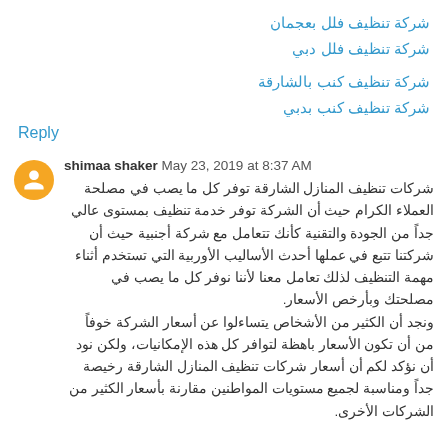شركة تنظيف فلل بعجمان
شركة تنظيف فلل دبي
شركة تنظيف كنب بالشارقة
شركة تنظيف كنب بدبي
Reply
shimaa shaker  May 23, 2019 at 8:37 AM
شركات تنظيف المنازل الشارقة توفر كل ما يصب في مصلحة العملاء الكرام حيث أن الشركة توفر خدمة تنظيف بمستوى عالي جداً من الجودة والتقنية كأنك تتعامل مع شركة أجنبية حيث أن شركتنا تتبع في عملها أحدث الأساليب الأوربية التي تستخدم أثناء مهمة التنظيف لذلك تعامل معنا لأننا نوفر كل ما يصب في مصلحتك وبأرخص الأسعار.
ونجد أن الكثير من الأشخاص يتساءلوا عن أسعار الشركة خوفاً من أن تكون الأسعار باهظة لتوافر كل هذه الإمكانيات، ولكن نود أن نؤكد لكم أن أسعار شركات تنظيف المنازل الشارقة رخيصة جداً ومناسبة لجميع مستويات المواطنين مقارنة بأسعار الكثير من الشركات الأخرى.